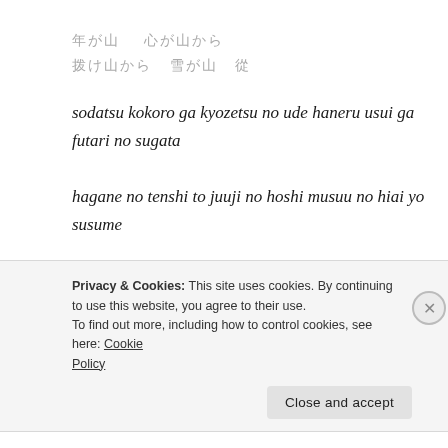【Japanese characters line 1】【Japanese characters line 2】
sodatsu kokoro ga kyozetsu no ude haneru usui ga futari no sugata
hagane no tenshi to juuji no hoshi musuu no hiai yo susume
My growing soul is my arm of rejection, the springing raindrops resembling our shape
Privacy & Cookies: This site uses cookies. By continuing to use this website, you agree to their use.
To find out more, including how to control cookies, see here: Cookie Policy
Close and accept